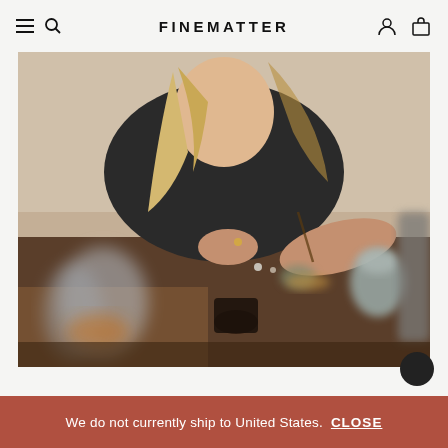FINEMATTER
[Figure (photo): A woman with blonde hair wearing a black top sits at a workbench covered with glassware, ceramic vessels, tools, and various jewelry-making materials. The image is taken in a studio or workshop setting with a blurred foreground.]
We do not currently ship to United States.  CLOSE